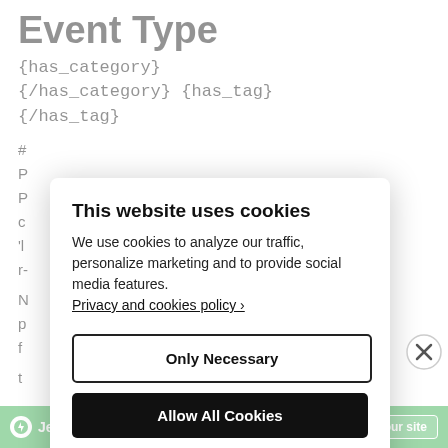Event Type
{has_category}
{/has_category} {has_tag}
{/has_tag}
[Figure (screenshot): Cookie consent modal dialog with title 'This website uses cookies', body text about cookies policy, Privacy and cookies policy link, 'Only Necessary' button, 'Allow All Cookies' button, and 'Configure Settings' link]
[Figure (screenshot): Green Jetpack promotional bar at the bottom with 'Jetpack' logo and 'Back up your site' button]